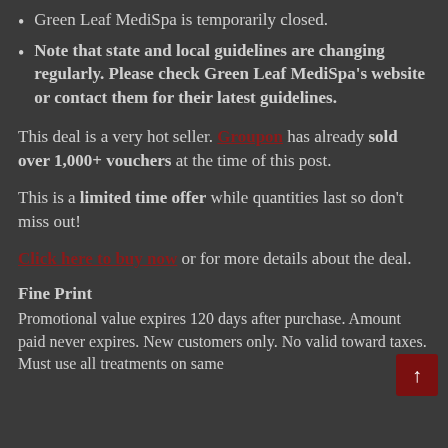Green Leaf MediSpa is temporarily closed.
Note that state and local guidelines are changing regularly. Please check Green Leaf MediSpa's website or contact them for their latest guidelines.
This deal is a very hot seller. Groupon has already sold over 1,000+ vouchers at the time of this post.
This is a limited time offer while quantities last so don't miss out!
Click here to buy now or for more details about the deal.
Fine Print
Promotional value expires 120 days after purchase. Amount paid never expires. New customers only. No valid toward taxes. Must use all treatments on same